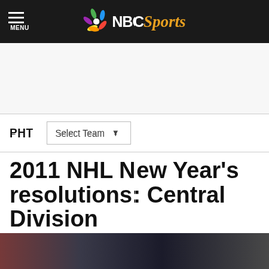NBC Sports — MENU
[Figure (logo): NBC Sports logo with peacock icon on dark navigation bar]
PHT   Select Team
2011 NHL New Year's resolutions: Central Division
By James O'Brien   Jan 2, 2011, 1:50 PM EST
[Figure (photo): Sports photograph showing hockey players, partially visible at bottom of page]